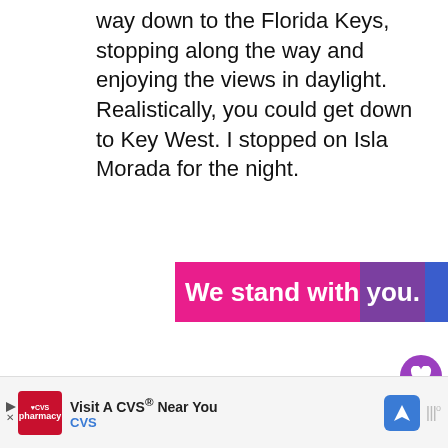way down to the Florida Keys, stopping along the way and enjoying the views in daylight. Realistically, you could get down to Key West. I stopped on Isla Morada for the night.
[Figure (other): Advertisement banner reading 'We stand with you.' with pink, purple, and blue gradient background and a close (X) button]
[Figure (other): Social interaction UI: heart/like button (purple circle), count of 6, and share button]
[Figure (other): What's Next panel with thumbnail image and text '20 Best Things To D...']
[Figure (other): Bottom advertisement for CVS pharmacy with 'Visit A CVS® Near You' text, CVS logo, navigation icon, and weather icon]